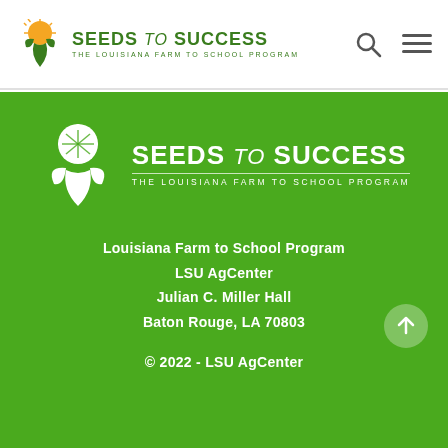[Figure (logo): Seeds to Success – The Louisiana Farm to School Program logo in header (green plant/sun icon with green text)]
[Figure (logo): Seeds to Success – The Louisiana Farm to School Program logo centered on green background (white plant/sun icon with white text)]
Louisiana Farm to School Program
LSU AgCenter
Julian C. Miller Hall
Baton Rouge, LA 70803
© 2022 - LSU AgCenter